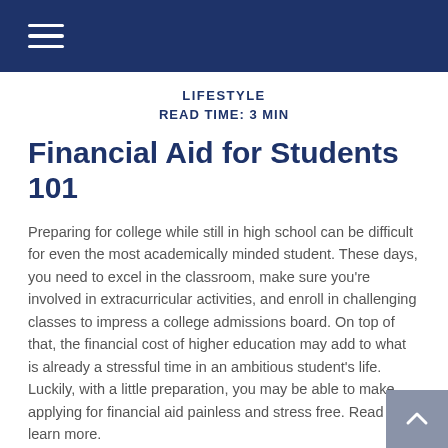≡ (navigation menu icon)
LIFESTYLE
READ TIME: 3 MIN
Financial Aid for Students 101
Preparing for college while still in high school can be difficult for even the most academically minded student. These days, you need to excel in the classroom, make sure you're involved in extracurricular activities, and enroll in challenging classes to impress a college admissions board. On top of that, the financial cost of higher education may add to what is already a stressful time in an ambitious student's life. Luckily, with a little preparation, you may be able to make applying for financial aid painless and stress free. Read on to learn more.